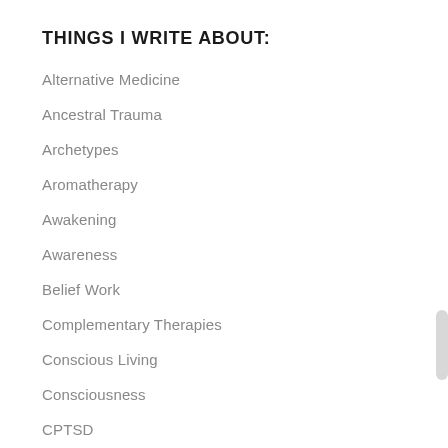THINGS I WRITE ABOUT:
Alternative Medicine
Ancestral Trauma
Archetypes
Aromatherapy
Awakening
Awareness
Belief Work
Complementary Therapies
Conscious Living
Consciousness
CPTSD
Emotional Abuse